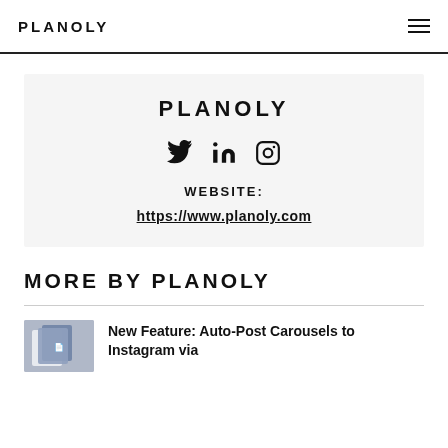PLANOLY
PLANOLY
[Figure (other): Social media icons: Twitter bird, LinkedIn 'in', Instagram camera]
WEBSITE:
https://www.planoly.com
MORE BY PLANOLY
New Feature: Auto-Post Carousels to Instagram via